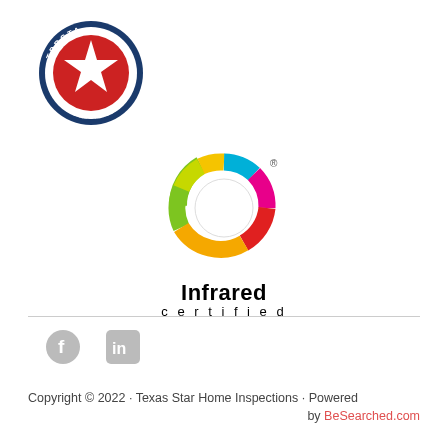[Figure (logo): TPRCTA Texas Professional Real Estate Inspectors Association circular badge logo with red, white and blue colors and star emblem]
[Figure (logo): Infrared Certified logo: colorful C-shape arc with segments in green, yellow-green, yellow, red, magenta, cyan with registered trademark symbol, text 'Infrared certified' below]
[Figure (logo): Social media icons: Facebook circle icon and LinkedIn square icon, both in light gray]
Copyright © 2022 · Texas Star Home Inspections · Powered by BeSearched.com